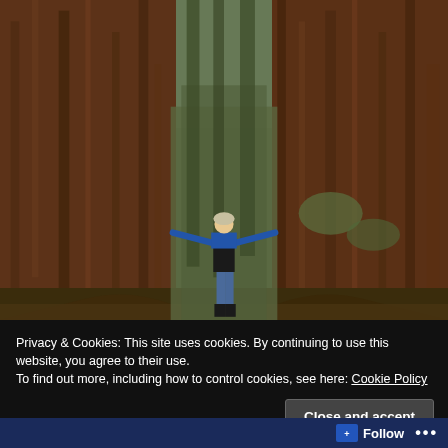[Figure (photo): A woman with arms outstretched standing between two massive redwood tree trunks in a forest. She is wearing a blue long-sleeve shirt, black vest, jeans, and dark boots. The trees dwarf her in scale, showing how enormous the redwoods are.]
Privacy & Cookies: This site uses cookies. By continuing to use this website, you agree to their use.
To find out more, including how to control cookies, see here: Cookie Policy
Close and accept
Follow ...